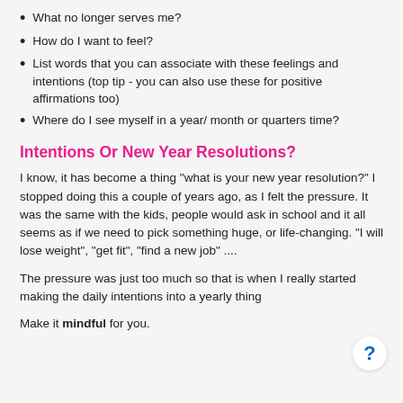What no longer serves me?
How do I want to feel?
List words that you can associate with these feelings and intentions (top tip - you can also use these for positive affirmations too)
Where do I see myself in a year/ month or quarters time?
Intentions Or New Year Resolutions?
I know, it has become a thing "what is your new year resolution?" I stopped doing this a couple of years ago, as I felt the pressure. It was the same with the kids, people would ask in school and it all seems as if we need to pick something huge, or life-changing. "I will lose weight", "get fit", "find a new job" ....
The pressure was just too much so that is when I really started making the daily intentions into a yearly thing
Make it mindful for you.